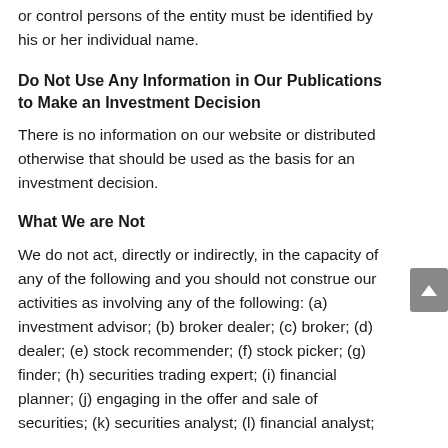or control persons of the entity must be identified by his or her individual name.
Do Not Use Any Information in Our Publications to Make an Investment Decision
There is no information on our website or distributed otherwise that should be used as the basis for an investment decision.
What We are Not
We do not act, directly or indirectly, in the capacity of any of the following and you should not construe our activities as involving any of the following: (a) investment advisor; (b) broker dealer; (c) broker; (d) dealer; (e) stock recommender; (f) stock picker; (g) finder; (h) securities trading expert; (i) financial planner; (j) engaging in the offer and sale of securities; (k) securities analyst; (l) financial analyst;